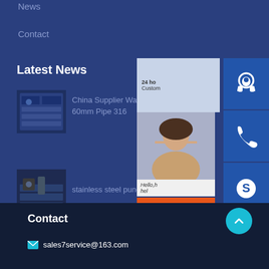News
Contact
Latest News
[Figure (photo): Steel plates/sheets stacked on a truck or loading dock]
China Supplier Wall Thickness 60mm Pipe 316
[Figure (photo): Workers with stainless steel sheets in a warehouse]
stainless steel punching hole
[Figure (screenshot): Customer service widget with headset icon, phone icon, and Skype icon on right side; chat popup showing woman and Hello/Chat Now button]
Contact
sales7service@163.com